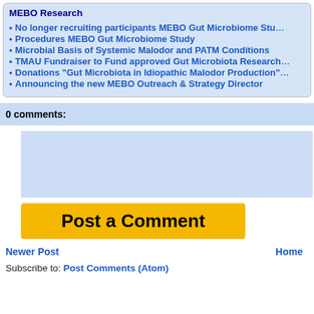MEBO Research
No longer recruiting participants MEBO Gut Microbiome Stu...
Procedures MEBO Gut Microbiome Study
Microbial Basis of Systemic Malodor and PATM Conditions
TMAU Fundraiser to Fund approved Gut Microbiota Research
Donations "Gut Microbiota in Idiopathic Malodor Production"
Announcing the new MEBO Outreach & Strategy Director
0 comments:
Post a Comment
Newer Post
Home
Subscribe to: Post Comments (Atom)